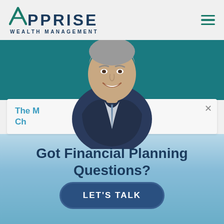[Figure (logo): Apprise Wealth Management logo with teal stylized A and dark navy PPRISE lettering, and WEALTH MANAGEMENT subtitle]
[Figure (other): Hamburger menu icon with three horizontal teal lines]
[Figure (photo): Portrait photo of a smiling middle-aged man in a dark suit and tie, positioned center overlapping the teal band]
The M... Should I Ch... ...tion?
Got Financial Planning Questions?
LET'S TALK